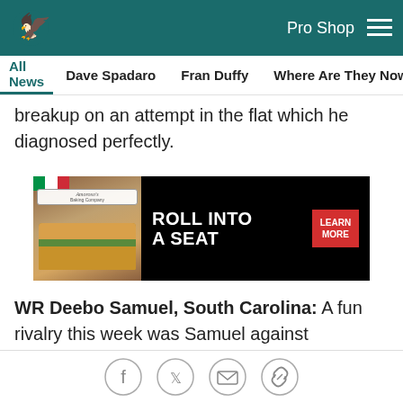Eagles | Pro Shop
All News | Dave Spadaro | Fran Duffy | Where Are They Now? | Pu
breakup on an attempt in the flat which he diagnosed perfectly.
[Figure (other): Amoroso's ad banner: ROLL INTO A SEAT with LEARN MORE button]
WR Deebo Samuel, South Carolina: A fun rivalry this week was Samuel against Kentucky's Lonnie Johnson. Samuel showed he can be a red zone weapon in all of the drills throughout practice -- one-on-one, 7-on-7, team. He was a consistent performer throughout practice.